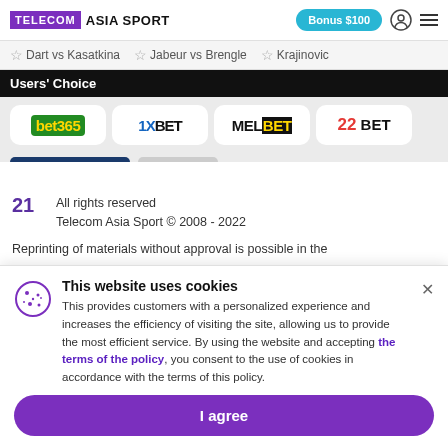TELECOM ASIA SPORT | Bonus $100
☆ Dart vs Kasatkina
☆ Jabeur vs Brengle
☆ Krajinovic
Users' Choice
[Figure (logo): bet365, 1XBET, MELBET, 22BET bookmaker logos]
21  All rights reserved
Telecom Asia Sport © 2008 - 2022
Reprinting of materials without approval is possible in the
This website uses cookies
This provides customers with a personalized experience and increases the efficiency of visiting the site, allowing us to provide the most efficient service. By using the website and accepting the terms of the policy, you consent to the use of cookies in accordance with the terms of this policy.
I agree